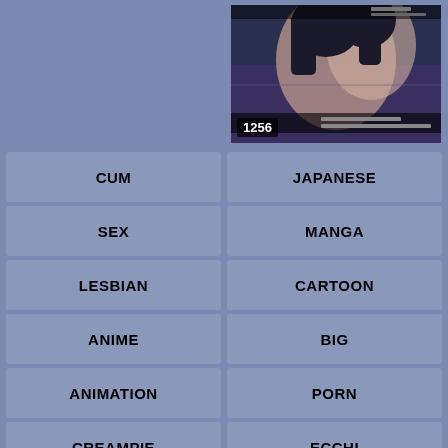[Figure (screenshot): Anime/manga video thumbnail with character illustration and view count 1256]
CUM
JAPANESE
SEX
MANGA
LESBIAN
CARTOON
ANIME
BIG
ANIMATION
PORN
CREAMPIE
ECCHI
BLOWJOB
FURRY
ANAL
FETISH
ROUGH
FUTA